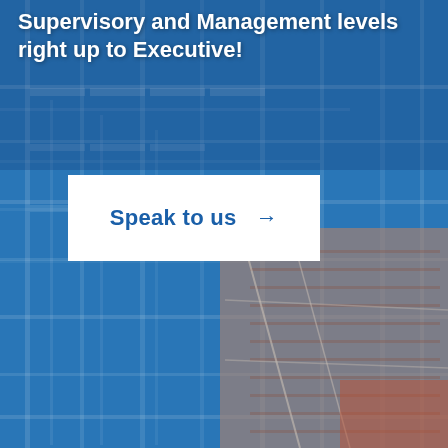Supervisory and Management levels right up to Executive!
Speak to us →
[Figure (photo): Background image of industrial warehouse shelving with blue overlay tint, and a partially overlapping photo of a brick building exterior with scaffolding in the lower right corner.]